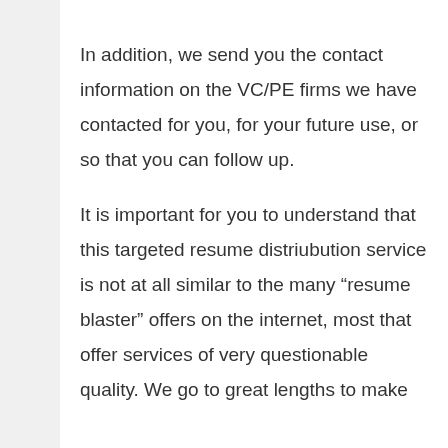In addition, we send you the contact information on the VC/PE firms we have contacted for you, for your future use, or so that you can follow up.
It is important for you to understand that this targeted resume distriubution service is not at all similar to the many “resume blaster” offers on the internet, most that offer services of very questionable quality. We go to great lengths to make